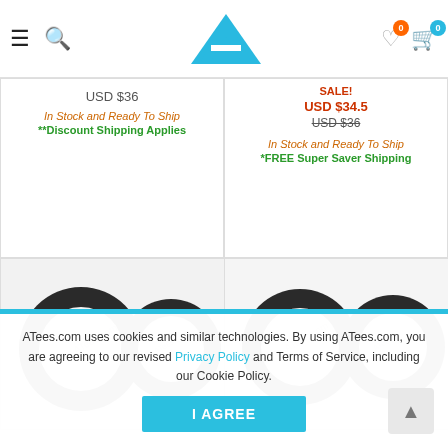ATees.com navigation bar with hamburger, search, logo, wishlist (0), cart (0)
USD $36
In Stock and Ready To Ship
**Discount Shipping Applies
SALE!
USD $34.5
USD $36
In Stock and Ready To Ship
*FREE Super Saver Shipping
[Figure (photo): Two black rubber O-rings on light background with ATees.com watermark]
[Figure (photo): Two black rubber O-rings on light background with ATees.com watermark]
ATees.com uses cookies and similar technologies. By using ATees.com, you are agreeing to our revised Privacy Policy and Terms of Service, including our Cookie Policy.
I AGREE